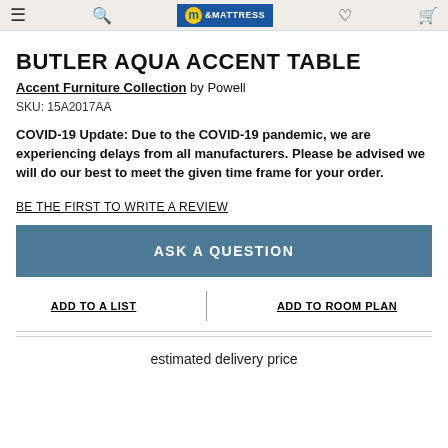BUTLER AQUA ACCENT TABLE — Furniture & Mattress store header
BUTLER AQUA ACCENT TABLE
Accent Furniture Collection by Powell
SKU: 15A2017AA
COVID-19 Update: Due to the COVID-19 pandemic, we are experiencing delays from all manufacturers. Please be advised we will do our best to meet the given time frame for your order.
BE THE FIRST TO WRITE A REVIEW
ASK A QUESTION
ADD TO A LIST
ADD TO ROOM PLAN
estimated delivery price